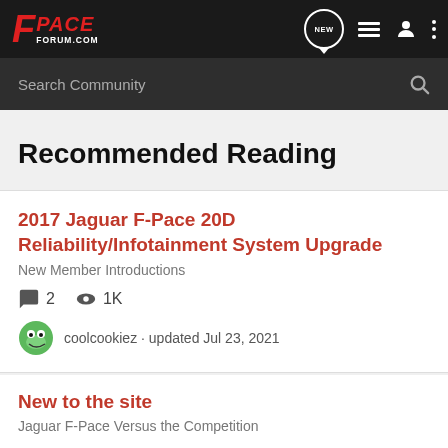F-PACE FORUM.COM
Recommended Reading
2017 Jaguar F-Pace 20D Reliability/Infotainment System Upgrade
New Member Introductions
2 comments · 1K views
coolcookiez · updated Jul 23, 2021
New to the site
Jaguar F-Pace Versus the Competition